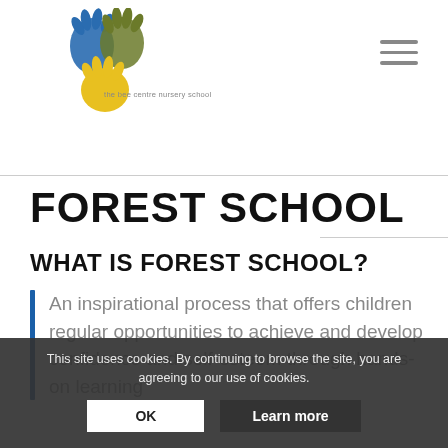[Figure (logo): The Bee Centre Nursery School logo — colorful handprints in blue, yellow and olive green with the school name below]
FOREST SCHOOL
WHAT IS FOREST SCHOOL?
An inspirational process that offers children regular opportunities to achieve and develop confidence and self-esteem through hands-on learning
This site uses cookies. By continuing to browse the site, you are agreeing to our use of cookies.